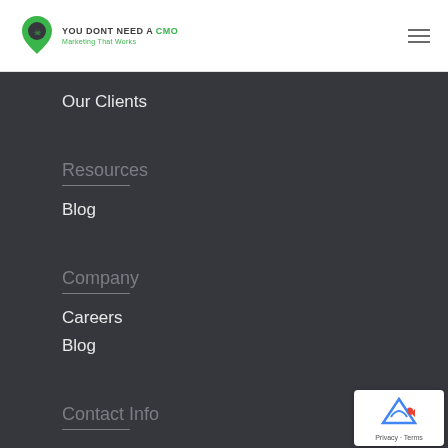YOU DONT NEED A CMO — Marketing That Works
Our Clients
Resources
Blog
Company
Careers
Blog
Contact Info
[Figure (logo): reCAPTCHA badge with Privacy and Terms links]